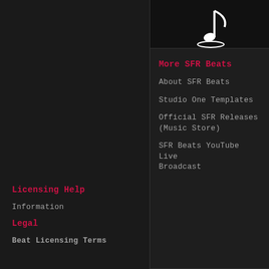[Figure (logo): SFR Beats logo - white stylized musical note with circular base on dark background]
More SFR Beats
About SFR Beats
Studio One Templates
Official SFR Releases (Music Store)
SFR Beats YouTube Live Broadcast
Jobs
Licensing Help
Information
Support
Legal
Beat Licensing Terms